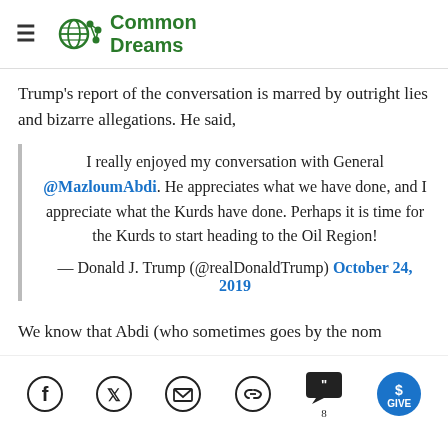Common Dreams
Trump's report of the conversation is marred by outright lies and bizarre allegations. He said,
I really enjoyed my conversation with General @MazloumAbdi. He appreciates what we have done, and I appreciate what the Kurds have done. Perhaps it is time for the Kurds to start heading to the Oil Region!
— Donald J. Trump (@realDonaldTrump) October 24, 2019
We know that Abdi (who sometimes goes by the nom
Social share icons: Facebook, Twitter, Email, Link, Comments (8), GIVE